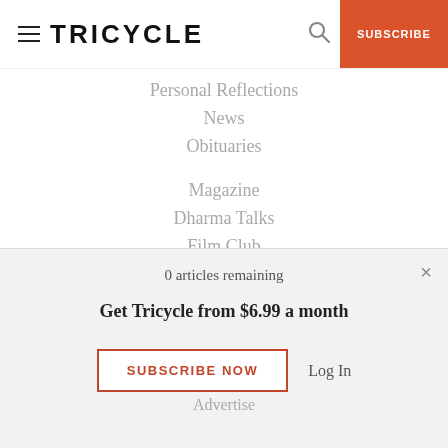TRICYCLE | SUBSCRIBE
Personal Reflections
News
Obituaries
Magazine
Dharma Talks
Film Club
Podcasts
Online Courses
Buddhism for Beginners
Events
E-Books
0 articles remaining
Get Tricycle from $6.99 a month
SUBSCRIBE NOW   Log In
Advertise